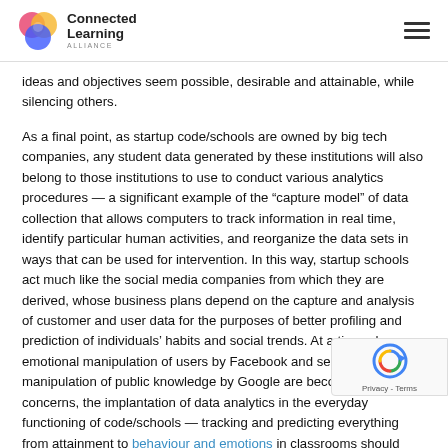Connected Learning Alliance
ideas and objectives seem possible, desirable and attainable, while silencing others.
As a final point, as startup code/schools are owned by big tech companies, any student data generated by these institutions will also belong to those institutions to use to conduct various analytics procedures — a significant example of the “capture model” of data collection that allows computers to track information in real time, identify particular human activities, and reorganize the data sets in ways that can be used for intervention. In this way, startup schools act much like the social media companies from which they are derived, whose business plans depend on the capture and analysis of customer and user data for the purposes of better profiling and prediction of individuals’ habits and social trends. At a time when emotional manipulation of users by Facebook and search engine manipulation of public knowledge by Google are becoming major concerns, the implantation of data analytics in the everyday functioning of code/schools — tracking and predicting everything from attainment to behaviour and emotions in classrooms should itself be the topic of close scrutiny.
Smarter, crowdsourced, awesome startup schools are also survey data-capturing, scalable venture capitalist schools built to run on the